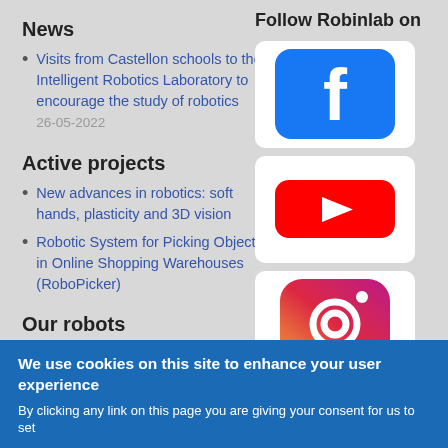News
Visits from Castellon schools to the Intelligent Robotics Laboratory to encourage the study of robotics
26-05-2022
Follow Robinlab on
[Figure (logo): Facebook logo - blue rounded square with white 'f']
[Figure (logo): YouTube logo - white background with red play button rectangle]
[Figure (logo): Instagram logo - colorful gradient rounded square with camera icon]
Active projects
New advances in robotics: soft hands, plasticity and 3D vision
Robotic System for Picking Objects in Online Shopping Warehouses (RoboPicker)
Our robots
We use cookies on this site to enhance your user experience
By clicking any link on this page you are giving your consent for us to set